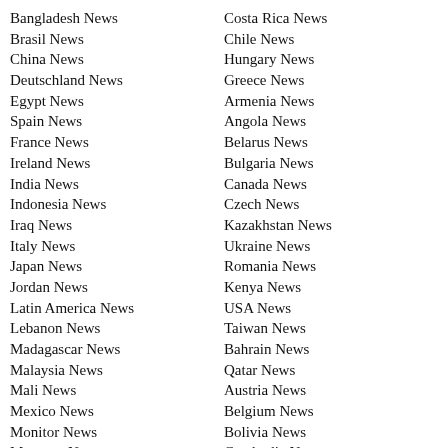Bangladesh News
Brasil News
China News
Deutschland News
Egypt News
Spain News
France News
Ireland News
India News
Indonesia News
Iraq News
Italy News
Japan News
Jordan News
Latin America News
Lebanon News
Madagascar News
Malaysia News
Mali News
Mexico News
Monitor News
Morocco News
Nigeria News
Costa Rica News
Chile News
Hungary News
Greece News
Armenia News
Angola News
Belarus News
Bulgaria News
Canada News
Czech News
Kazakhstan News
Ukraine News
Romania News
Kenya News
USA News
Taiwan News
Bahrain News
Qatar News
Austria News
Belgium News
Bolivia News
Cambodia News
Congo News